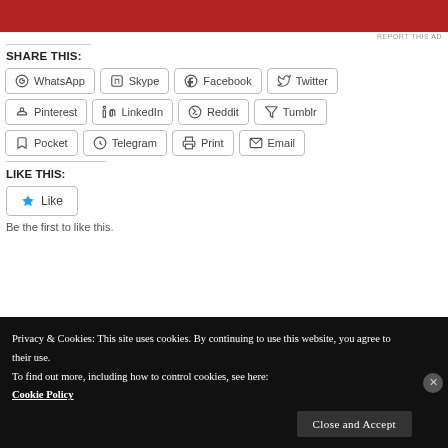[Figure (other): Red advertisement banner at top of page]
REPORT THIS AD
SHARE THIS:
WhatsApp  Skype  Facebook  Twitter  Pinterest  LinkedIn  Reddit  Tumblr  Pocket  Telegram  Print  Email
LIKE THIS:
Like
Be the first to like this.
Privacy & Cookies: This site uses cookies. By continuing to use this website, you agree to their use.
To find out more, including how to control cookies, see here:
Cookie Policy
Close and Accept